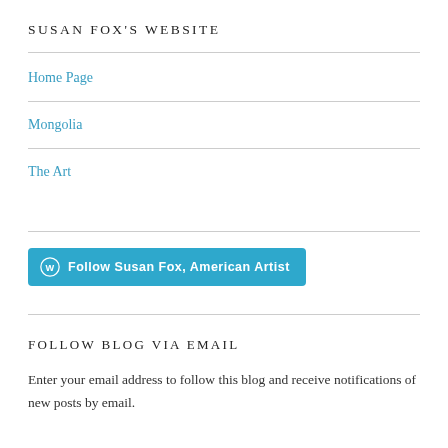SUSAN FOX'S WEBSITE
Home Page
Mongolia
The Art
[Figure (other): WordPress Follow button: Follow Susan Fox, American Artist]
FOLLOW BLOG VIA EMAIL
Enter your email address to follow this blog and receive notifications of new posts by email.